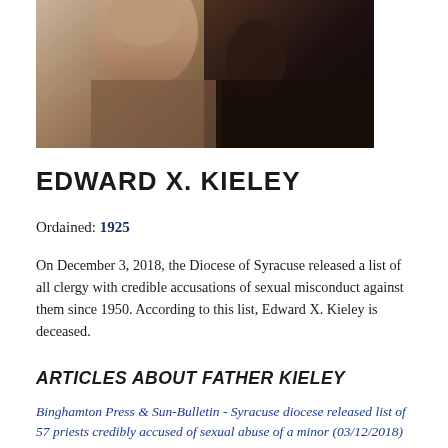[Figure (photo): Partial photograph of a person, cropped showing upper portion of face and dark background/clothing]
EDWARD X. KIELEY
Ordained: 1925
On December 3, 2018, the Diocese of Syracuse released a list of all clergy with credible accusations of sexual misconduct against them since 1950. According to this list, Edward X. Kieley is deceased.
ARTICLES ABOUT FATHER KIELEY
Binghamton Press & Sun-Bulletin - Syracuse diocese released list of 57 priests credibly accused of sexual abuse of a minor (03/12/2018)